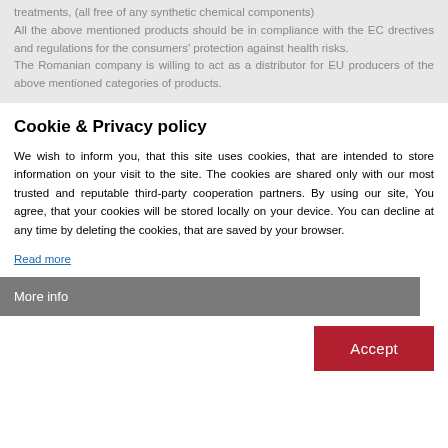treatments, (all free of any synthetic chemical components)
All the above mentioned products should be in compliance with the EC directives and regulations for the consumers' protection against health risks.
The Romanian company is willing to act as a distributor for EU producers of the above mentioned categories of products.
Cookie & Privacy policy
We wish to inform you, that this site uses cookies, that are intended to store information on your visit to the site. The cookies are shared only with our most trusted and reputable third-party cooperation partners. By using our site, You agree, that your cookies will be stored locally on your device. You can decline at any time by deleting the cookies, that are saved by your browser.
Read more
More info
Accept